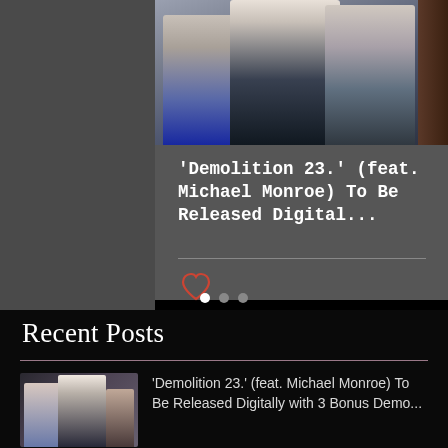[Figure (photo): Band photo showing several people standing together, partially cropped at top]
'Demolition 23.' (feat. Michael Monroe) To Be Released Digital...
[Figure (illustration): Heart icon (like/favorite button) in red/orange outline style]
[Figure (infographic): Pagination dots: three dots with first one filled white indicating current slide]
Recent Posts
[Figure (photo): Small thumbnail photo of band members]
'Demolition 23.' (feat. Michael Monroe) To Be Released Digitally with 3 Bonus Demo...